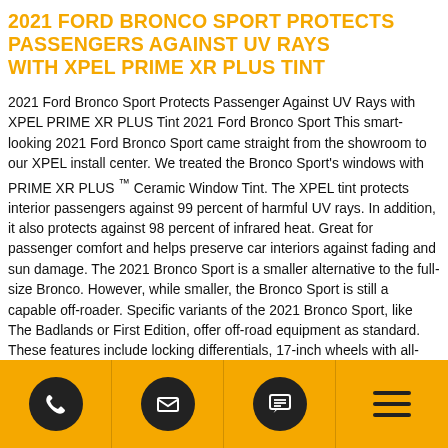2021 FORD BRONCO SPORT PROTECTS PASSENGERS AGAINST UV RAYS WITH XPEL PRIME XR PLUS TINT
2021 Ford Bronco Sport Protects Passenger Against UV Rays with XPEL PRIME XR PLUS Tint 2021 Ford Bronco Sport This smart-looking 2021 Ford Bronco Sport came straight from the showroom to our XPEL install center. We treated the Bronco Sport's windows with PRIME XR PLUS ™ Ceramic Window Tint. The XPEL tint protects interior passengers against 99 percent of harmful UV rays. In addition, it also protects against 98 percent of infrared heat. Great for passenger comfort and helps preserve car interiors against fading and sun damage. The 2021 Bronco Sport is a smaller alternative to the full-size Bronco. However, while smaller, the Bronco Sport is still a capable off-roader. Specific variants of the 2021 Bronco Sport, like The Badlands or First Edition, offer off-road equipment as standard. These features include locking differentials, 17-inch wheels with all-terrain tires. In addition, off-road Bronco Sports provide better ground clearance thanks to a one-inch suspension lift and stiffer shock
Phone | Email | Chat | Menu icons